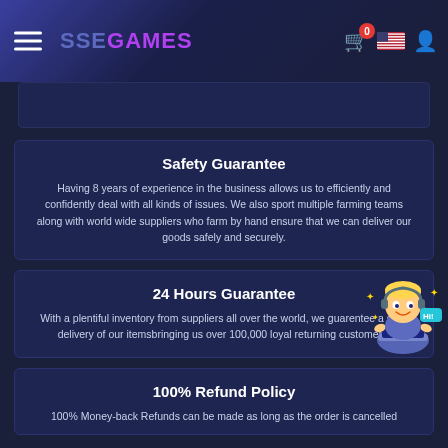SSEGAMES
Safety Guarantee
Having 8 years of experience in the business allows us to efficiently and confidently deal with all kinds of issues. We also sport multiple farming teams along with world wide suppliers who farm by hand ensure that we can deliver our goods safely and securely.
24 Hours Guarantee
With a plentiful inventory from suppliers all over the world, we guarentee a swift delivery of our itemsbringing us over 100,000 loyal returning customers.
100% Refund Policy
100% Money-back Refunds can be made as long as the order is cancelled
[Figure (illustration): Animated customer support character with headset, sparkling stars, laptop]